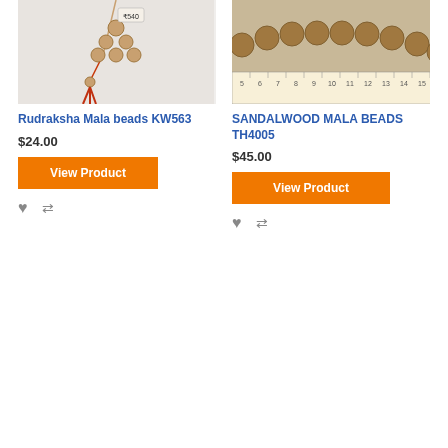[Figure (photo): Rudraksha Mala beads product image showing wooden beads with red thread on white background]
[Figure (photo): Sandalwood Mala beads product image showing brown wooden beads next to a ruler/measuring tape]
Rudraksha Mala beads KW563
$24.00
View Product
SANDALWOOD MALA BEADS TH4005
$45.00
View Product